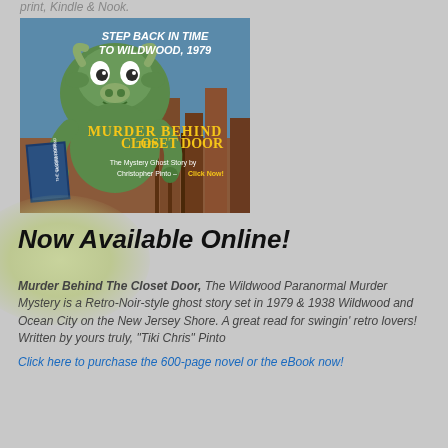print, Kindle & Nook.
[Figure (illustration): Book advertisement for 'Murder Behind The Closet Door' showing a monster bull creature, book cover, yellow title text on dark background, with tagline 'Step Back In Time To Wildwood, 1979'. Subtitle: 'The Mystery Ghost Story by Christopher Pinto – Click Now!']
Now Available Online!
Murder Behind The Closet Door, The Wildwood Paranormal Murder Mystery is a Retro-Noir-style ghost story set in 1979 & 1938 Wildwood and Ocean City on the New Jersey Shore. A great read for swingin' retro lovers! Written by yours truly, "Tiki Chris" Pinto
Click here to purchase the 600-page novel or the eBook now!